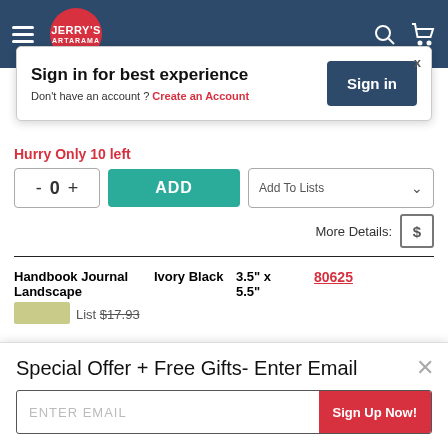[Figure (screenshot): Jerry's Artarama navigation bar with hamburger menu, logo, search and cart icons]
Sign in for best experience
Don't have an account ? Create an Account
Sign in
Hurry Only 10 left
- 0 + ADD
Add To Lists
More Details:
Handbook Journal Landscape  Ivory Black  3.5" x 5.5"  80625
List $17.93
Special Offer + Free Gifts- Enter Email
ENTER EMAIL
Sign Up Now!